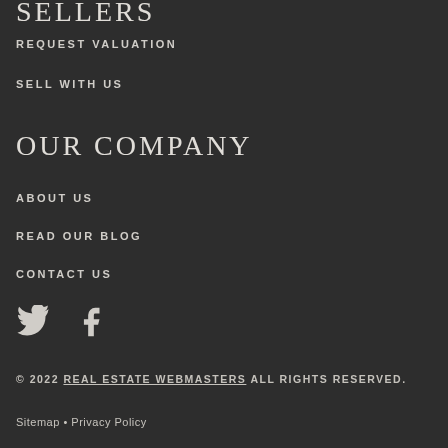SELLERS
REQUEST VALUATION
SELL WITH US
OUR COMPANY
ABOUT US
READ OUR BLOG
CONTACT US
[Figure (illustration): Twitter bird icon and Facebook 'f' icon as social media links]
© 2022 REAL ESTATE WEBMASTERS ALL RIGHTS RESERVED.
Sitemap • Privacy Policy